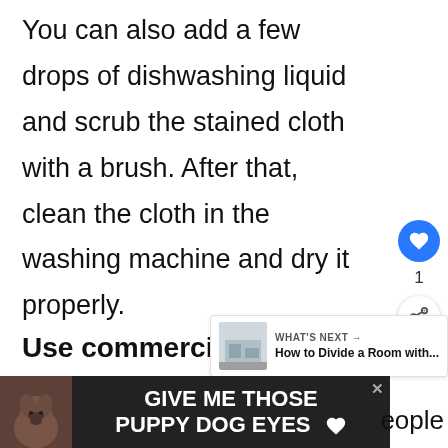cloth in vinegar and rub on the stain.

You can also add a few drops of dishwashing liquid and scrub the stained cloth with a brush. After that, clean the cloth in the washing machine and dry it properly.
Use commercial color remo...
Vi... ...people
[Figure (screenshot): Social sidebar with blue heart/like button showing count of 1, and a share button]
[Figure (screenshot): What's Next panel showing 'How to Divide a Room with...' with a small room photo]
[Figure (infographic): Advertisement banner at the bottom: dark background with a dog photo on the left and text 'GIVE ME THOSE PUPPY DOG EYES' with a heart icon, and a close button]